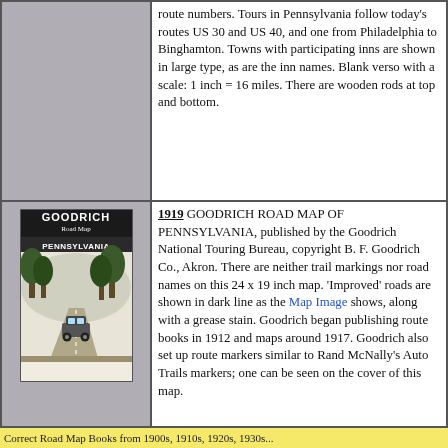route numbers. Tours in Pennsylvania follow today's routes US 30 and US 40, and one from Philadelphia to Binghamton. Towns with participating inns are shown in large type, as are the inn names. Blank verso with a scale: 1 inch = 16 miles. There are wooden rods at top and bottom.
[Figure (illustration): Cover of Goodrich Road Map of Pennsylvania, showing an illustration of a car on a road with trees]
1919 GOODRICH ROAD MAP OF PENNSYLVANIA, published by the Goodrich National Touring Bureau, copyright B. F. Goodrich Co., Akron. There are neither trail markings nor road names on this 24 x 19 inch map. 'Improved' roads are shown in dark line as the Map Image shows, along with a grease stain. Goodrich began publishing route books in 1912 and maps around 1917. Goodrich also set up route markers similar to Rand McNally's Auto Trails markers; one can be seen on the cover of this map.
Correct Road Map Books from 1900s, 1910s, 1920s, 1930s...